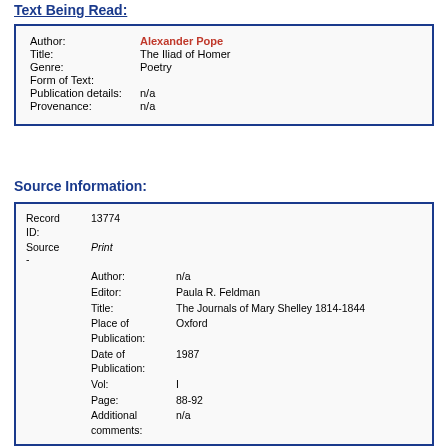Text Being Read:
| Field | Value |
| --- | --- |
| Author: | Alexander Pope |
| Title: | The Iliad of Homer |
| Genre: | Poetry |
| Form of Text: |  |
| Publication details: | n/a |
| Provenance: | n/a |
Source Information:
| Field | Value |
| --- | --- |
| Record ID: | 13774 |
| Source - | Print |
| Author: | n/a |
| Editor: | Paula R. Feldman |
| Title: | The Journals of Mary Shelley 1814-1844 |
| Place of Publication: | Oxford |
| Date of Publication: | 1987 |
| Vol: | I |
| Page: | 88-92 |
| Additional comments: | n/a |